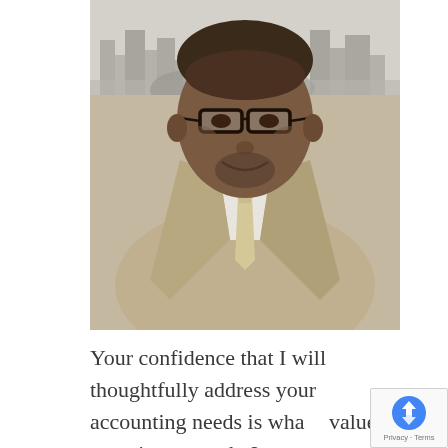[Figure (photo): Professional headshot photo of a middle-aged African American man wearing glasses, a tan/beige suit jacket, white dress shirt, and a light beige patterned tie. He is smiling. The background shows a black and white cityscape with a river and city skyline.]
Your confidence that I will thoughtfully address your accounting needs is what I value most in my work. I want you to be able to concentrate on growing your